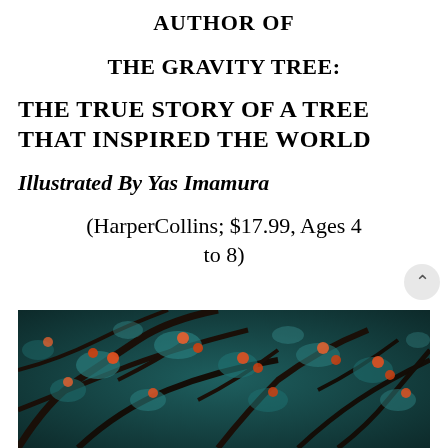AUTHOR OF
THE GRAVITY TREE:
THE TRUE STORY OF A TREE THAT INSPIRED THE WORLD
Illustrated By Yas Imamura
(HarperCollins; $17.99, Ages 4 to 8)
[Figure (photo): Photo of dark tree branches with orange/red fruit or berries against a teal/dark blue background]